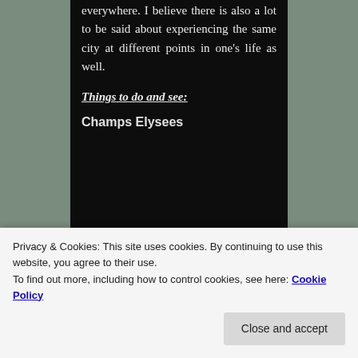everywhere. I believe there is also a lot to be said about experiencing the same city at different points in one's life as well.
Things to do and see:
Champs Elysees
[Figure (photo): Partial photo of an outdoor scene with a light sky and rocky/stone structure visible in the upper right corner, and a street or market scene at the bottom (partially visible).]
Privacy & Cookies: This site uses cookies. By continuing to use this website, you agree to their use.
To find out more, including how to control cookies, see here: Cookie Policy